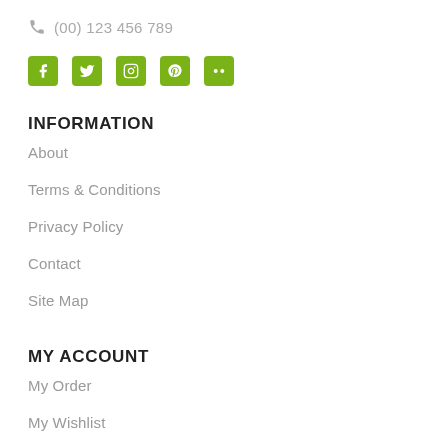(00) 123 456 789
[Figure (illustration): Social media icons: Facebook, Twitter, Instagram, Pinterest, Flickr — displayed as green rounded square buttons]
INFORMATION
About
Terms & Conditions
Privacy Policy
Contact
Site Map
MY ACCOUNT
My Order
My Wishlist
My Credit Slip